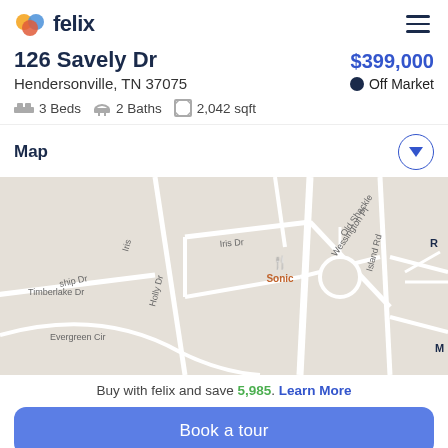felix
126 Savely Dr
Hendersonville, TN 37075
$399,000  Off Market
3 Beds  2 Baths  2,042 sqft
Map
[Figure (map): Street map showing area around 126 Savely Dr, Hendersonville TN. Roads visible include Iris Dr, Holly Dr, Timberlake Dr, Evergreen Cir, Wessington Pl, Old Shackle Island Rd. Sonic restaurant icon shown in orange.]
Buy with felix and save 5,985. Learn More
Book a tour